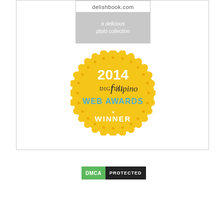[Figure (logo): DelishBook.com logo with URL text and tagline 'a delicious photo collection' on grey background]
[Figure (logo): 2014 Digital Filipino Web Awards Winner badge - gold circular seal with yellow scalloped border, text '2014', 'DIGITAL Filipino', 'WEB AWARDS', 'WINNER' in white and teal colors]
[Figure (logo): DMCA Protected badge with green DMCA label and black PROTECTED label]